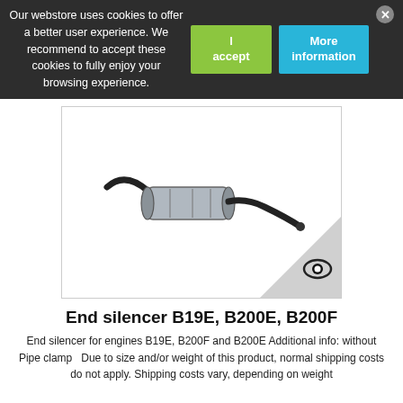Our webstore uses cookies to offer a better user experience. We recommend to accept these cookies to fully enjoy your browsing experience.
[Figure (photo): Photo of an automotive end silencer / muffler for engines B19E, B200E, B200F. The muffler is a cylindrical metallic canister with two curved exhaust pipe ends extending from either side.]
End silencer B19E, B200E, B200F
End silencer for engines B19E, B200F and B200E Additional info: without Pipe clamp  Due to size and/or weight of this product, normal shipping costs do not apply. Shipping costs vary, depending on weight